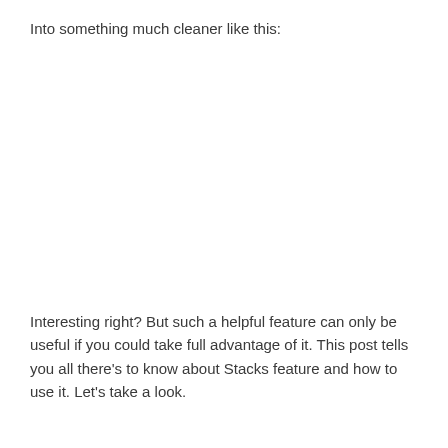Into something much cleaner like this:
Interesting right? But such a helpful feature can only be useful if you could take full advantage of it. This post tells you all there's to know about Stacks feature and how to use it. Let's take a look.